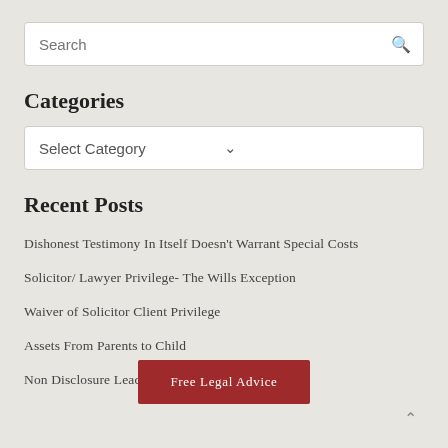Search
Categories
Select Category
Recent Posts
Dishonest Testimony In Itself Doesn't Warrant Special Costs
Solicitor/ Lawyer Privilege- The Wills Exception
Waiver of Solicitor Client Privilege
Assets From Parents to Child
Non Disclosure Leads to Adverse Inference
Free Legal Advice